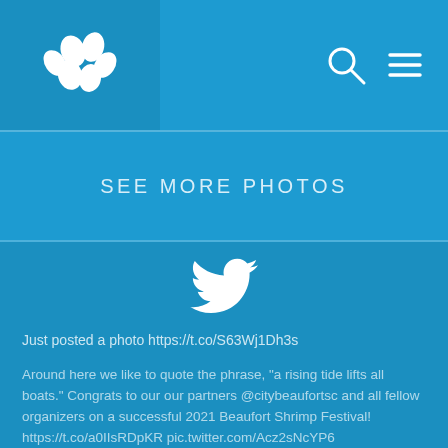[Figure (logo): White paw/flower logo on blue background in top left nav]
[Figure (illustration): Search icon (magnifying glass) and hamburger menu icon in top right nav]
SEE MORE PHOTOS
[Figure (logo): Twitter bird logo centered in white]
Just posted a photo https://t.co/S63Wj1Dh3s
Around here we like to quote the phrase, "a rising tide lifts all boats." Congrats to our our partners @citybeaufortsc and all fellow organizers on a successful 2021 Beaufort Shrimp Festival! https://t.co/a0IIsRDpKR pic.twitter.com/Acz2sNcYP6